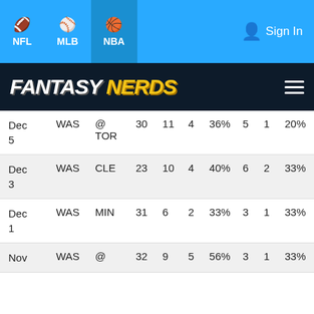NFL  MLB  NBA  Sign In
FANTASY NERDS
| Date | Team | Opp | Min | FGA | FGM | FG% | 3PA | 3PM | 3P% |
| --- | --- | --- | --- | --- | --- | --- | --- | --- | --- |
| Dec 5 | WAS | @ TOR | 30 | 11 | 4 | 36% | 5 | 1 | 20% |
| Dec 3 | WAS | CLE | 23 | 10 | 4 | 40% | 6 | 2 | 33% |
| Dec 1 | WAS | MIN | 31 | 6 | 2 | 33% | 3 | 1 | 33% |
| Nov | WAS | @ | 32 | 9 | 5 | 56% | 3 | 1 | 33% |